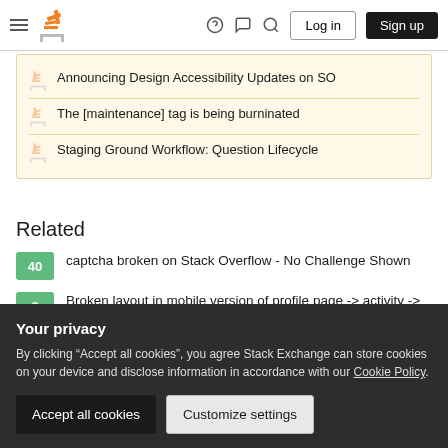Stack Overflow navigation bar with Log in and Sign up buttons
Announcing Design Accessibility Updates on SO
The [maintenance] tag is being burninated
Staging Ground Workflow: Question Lifecycle
Related
40 — captcha broken on Stack Overflow - No Challenge Shown
2 — Broken layout in mobile version of profile page -> activity -> responses caused by profile picture from Facebook?
Does Stack Overflow still use recaptcha? And if so what version
Your privacy
By clicking "Accept all cookies", you agree Stack Exchange can store cookies on your device and disclose information in accordance with our Cookie Policy.
Accept all cookies | Customize settings